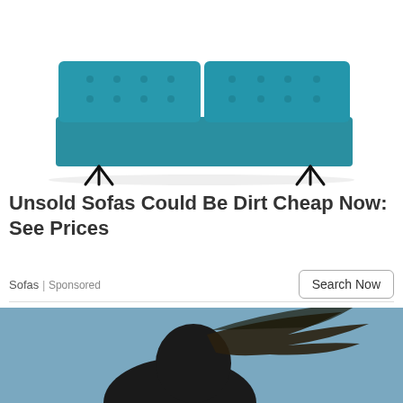[Figure (photo): A teal/turquoise tufted futon sofa with hairpin legs on white background]
Unsold Sofas Could Be Dirt Cheap Now: See Prices
Sofas | Sponsored
[Figure (photo): Silhouette of a person with windswept hair against a blue sky background]